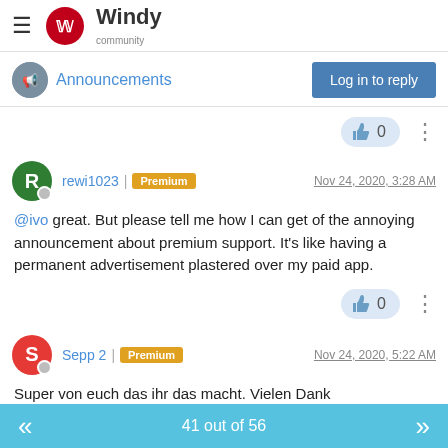Windy community
Announcements
Log in to reply
rewi1023 | Premium  Nov 24, 2020, 3:28 AM
@ivo great. But please tell me how I can get of the annoying announcement about premium support. It's like having a permanent advertisement plastered over my paid app.
Sepp 2 | Premium  Nov 24, 2020, 5:22 AM
Super von euch das ihr das macht. Vielen Dank
41 out of 56